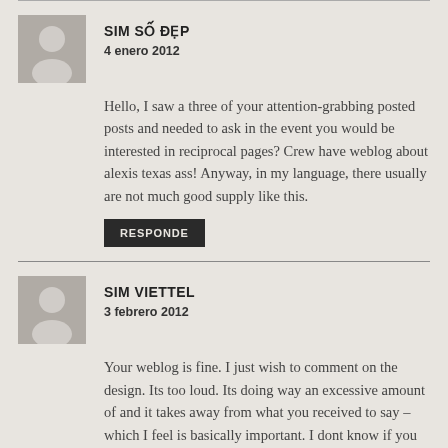[Figure (illustration): User avatar placeholder icon for SIM SO DEP comment]
SIM SỐ ĐẸP
4 enero 2012
Hello, I saw a three of your attention-grabbing posted posts and needed to ask in the event you would be interested in reciprocal pages? Crew have weblog about alexis texas ass! Anyway, in my language, there usually are not much good supply like this.
RESPONDE
[Figure (illustration): User avatar placeholder icon for SIM VIETTEL comment]
SIM VIETTEL
3 febrero 2012
Your weblog is fine. I just wish to comment on the design. Its too loud. Its doing way an excessive amount of and it takes away from what you received to say –which I feel is basically important. I dont know if you happen to didnt suppose that your phrases could maintain